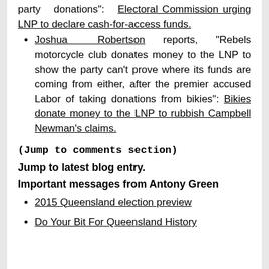party donations": Electoral Commission urging LNP to declare cash-for-access funds.
Joshua Robertson reports, “Rebels motorcycle club donates money to the LNP to show the party can’t prove where its funds are coming from either, after the premier accused Labor of taking donations from bikies”: Bikies donate money to the LNP to rubbish Campbell Newman’s claims.
(Jump to comments section)
Jump to latest blog entry.
Important messages from Antony Green
2015 Queensland election preview
Do Your Bit For Queensland History